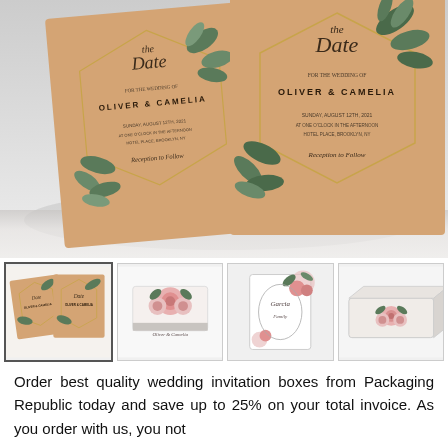[Figure (photo): Two wedding 'Save the Date' invitation cards for Oliver & Camelia, featuring botanical leaf illustrations and gold geometric hexagon frames on a tan/kraft background, displayed against a white surface.]
[Figure (photo): Thumbnail strip of four product images: (1) two kraft-paper Save the Date cards, (2) a white flat box with pink rose design, (3) a white greeting card with floral corner design, (4) a white rectangular box with pink floral design.]
Order best quality wedding invitation boxes from Packaging Republic today and save up to 25% on your total invoice. As you order with us, you not